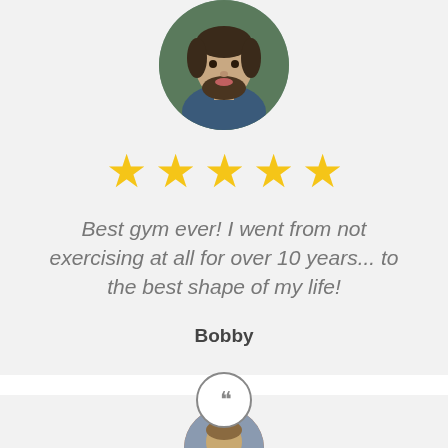[Figure (photo): Circular profile photo of a bearded man in a dark shirt, cropped to a circle, positioned at the top center of a light gray review card]
[Figure (other): Five yellow star rating icons arranged horizontally]
Best gym ever! I went from not exercising at all for over 10 years... to the best shape of my life!
Bobby
[Figure (other): Circular icon with double closing quotation marks, signifying the start of a new testimonial card below]
[Figure (photo): Partial circular profile photo visible at the bottom of the page, partially cropped, belonging to the next reviewer]